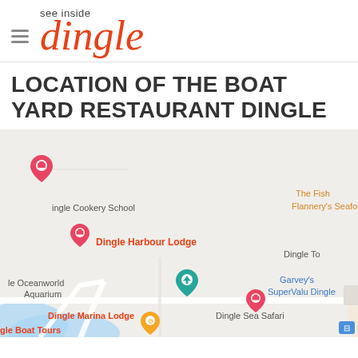see inside dingle
LOCATION OF THE BOAT YARD RESTAURANT DINGLE
[Figure (map): Google Maps screenshot showing the area around Dingle Harbour, Ireland. Shows map markers for: Dingle Harbour Lodge, Dingle Oceanworld Aquarium, Dingle Marina Lodge, Dingle Sea Safari, Dingle Boat Tours, Dingle Town, Garvey's SuperValu Dingle, The Fish (truncated), Flannery's Seafo (truncated), Dingle Cookery School. The Boatyard restaurant location is visible near center-right of map.]